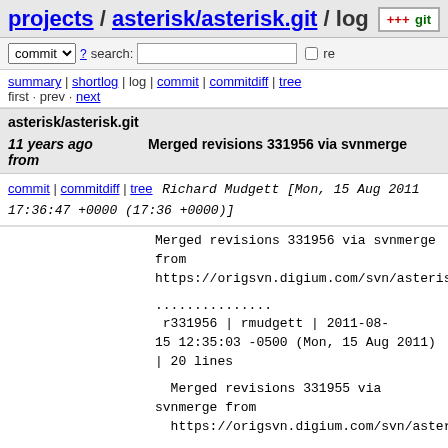projects / asterisk/asterisk.git / log
commit search: re
summary | shortlog | log | commit | commitdiff | tree
first · prev · next
asterisk/asterisk.git
11 years ago   Merged revisions 331956 via svnmerge from
commit | commitdiff | tree   Richard Mudgett [Mon, 15 Aug 2011 17:36:47 +0000 (17:36 +0000)]
Merged revisions 331956 via svnmerge from
https://origsvn.digium.com/svn/asterisk/branches/1

...............
 r331956 | rmudgett | 2011-08-15 12:35:03 -0500 (Mon, 15 Aug 2011) | 20 lines

Merged revisions 331955 via svnmerge from
https://origsvn.digium.com/svn/asterisk/branches

.......
 r331955 | rmudgett | 2011-08-15 12:24:08 -0500 (Mon, 15 Aug 2011) | 13 lines